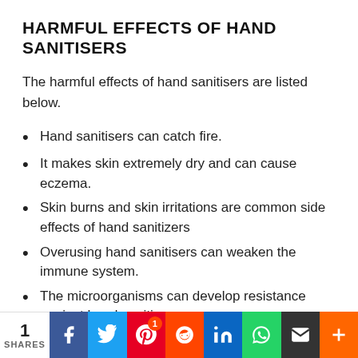HARMFUL EFFECTS OF HAND SANITISERS
The harmful effects of hand sanitisers are listed below.
Hand sanitisers can catch fire.
It makes skin extremely dry and can cause eczema.
Skin burns and skin irritations are common side effects of hand sanitizers
Overusing hand sanitisers can weaken the immune system.
The microorganisms can develop resistance against hand sanitisers.
Consuming hand sanitiser can cause problems